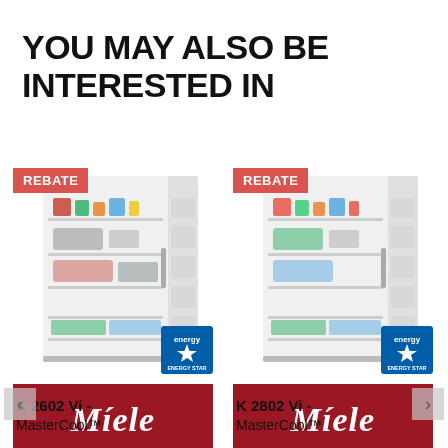YOU MAY ALSO BE INTERESTED IN
[Figure (photo): Miele refrigerator K 2602 Vi open showing interior shelves with food, REBATE badge top left, ENERGY STAR badge bottom right, Miele red logo box below]
K 2602 Vi -
MasterCool™
[Figure (photo): Miele refrigerator K 2802 Vi open showing interior shelves with food, REBATE badge top left, ENERGY STAR badge bottom right, Miele red logo box below]
K 2802 Vi -
MasterCool™